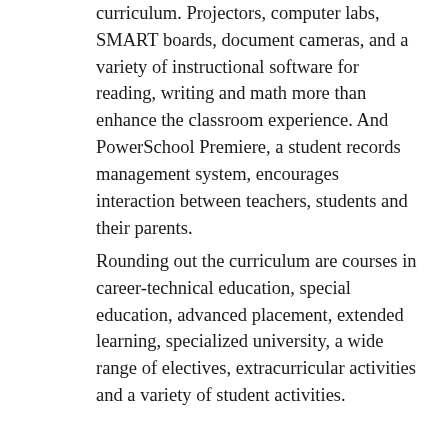curriculum. Projectors, computer labs, SMART boards, document cameras, and a variety of instructional software for reading, writing and math more than enhance the classroom experience. And PowerSchool Premiere, a student records management system, encourages interaction between teachers, students and their parents.
Rounding out the curriculum are courses in career-technical education, special education, advanced placement, extended learning, specialized university, a wide range of electives, extracurricular activities and a variety of student activities.